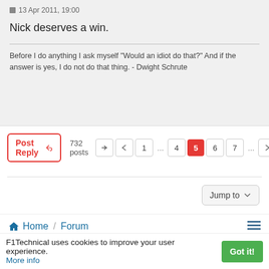13 Apr 2011, 19:00
Nick deserves a win.
Before I do anything I ask myself "Would an idiot do that?" And if the answer is yes, I do not do that thing. - Dwight Schrute
Post Reply  732 posts  1 ... 4 5 6 7 ... >
Jump to
Home / Forum
Content  Community  Connect
F1Technical uses cookies to improve your user experience. More info  Got it!